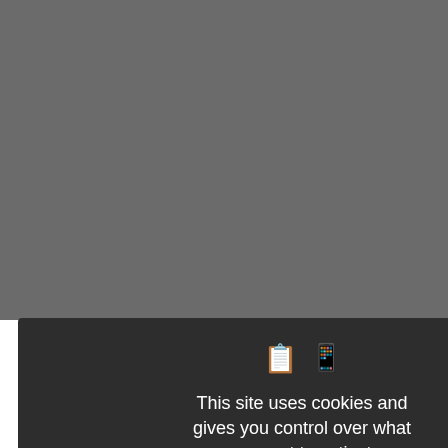in this case one's prime (compare women) of a certain age are assumed to be); yet the word certain renders the certain condition "pregnant" or people "syphilis".) Aged care institutions are cottages, villages, residences and euphemisms involve the sort of understatement. A special type of expressed in terms of the denial of specifically the not in/un— strategy, the confusion arising from the negative utterance; it is well established in those difficulties for cognitive processes include not youthful, not in one's first young as we used to be — but then not Part-for-whole euphemisms are denoted airs "old age", greying "aging", go Such expressions would more usually distinguished look that comes with the reying of Australia for some time be population of aging or aged Australia English-speaking world, grey power ersons' (see below). The US c Anniversary Year of Activism in 2011 atch Observer's Report For whi
[Figure (screenshot): Cookie consent modal dialog with dark background. Shows two icons (hand/clipboard), text 'This site uses cookies and gives you control over what you want to activate', green 'OK, accept all' button, red 'Deny all cookies' button, white 'Personalize' button, and 'Privacy policy' link.]